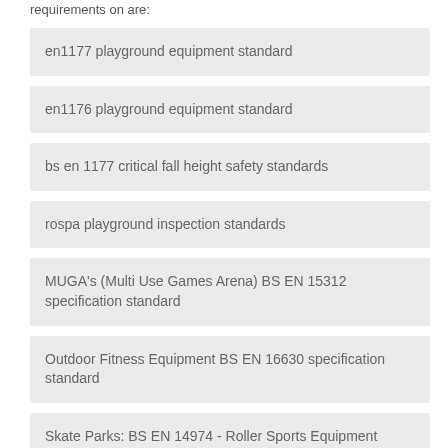requirements on are:
en1177 playground equipment standard
en1176 playground equipment standard
bs en 1177 critical fall height safety standards
rospa playground inspection standards
MUGA's (Multi Use Games Arena) BS EN 15312 specification standard
Outdoor Fitness Equipment BS EN 16630 specification standard
Skate Parks: BS EN 14974 - Roller Sports Equipment